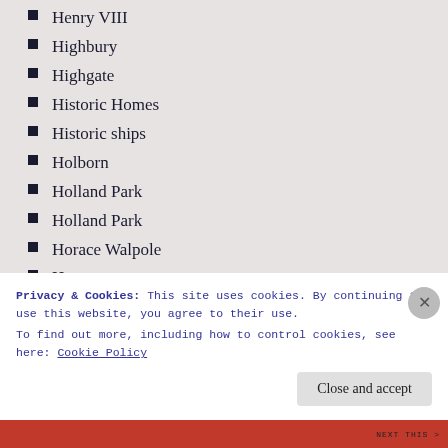Henry VIII
Highbury
Highgate
Historic Homes
Historic ships
Holborn
Holland Park
Holland Park
Horace Walpole
Hoxton
Hundred Years War
Hyde Park Corner
Inigo Jones
Iron Age
Isaac Newton
Privacy & Cookies: This site uses cookies. By continuing to use this website, you agree to their use. To find out more, including how to control cookies, see here: Cookie Policy
Close and accept